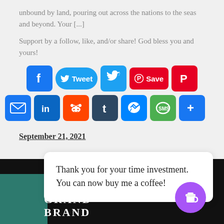unbound by land, pouring out across the nations to the seas and beyond. Your [...]
Support by a follow, like, and/or share! God bless you and yours!
[Figure (infographic): Social media sharing buttons: Facebook, Tweet (Twitter), Twitter bird, Pinterest Save, Pinterest icon, Email, LinkedIn, Reddit, Tumblr, Messenger, SMS, More (+)]
September 21, 2021
Thank you for your time investment. You can now buy me a coffee!
[Figure (illustration): Bottom portion of a book cover image with teal/dark colors and partial text visible]